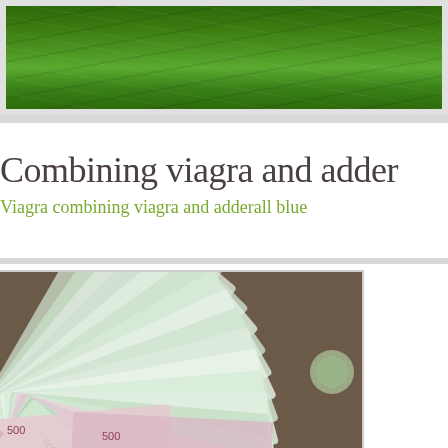[Figure (photo): Aerial view of green terraced fields/farmland]
Combining viagra and adder
Viagra combining viagra and adderall blue
[Figure (photo): Fan of Russian ruble banknotes spread out on a surface]